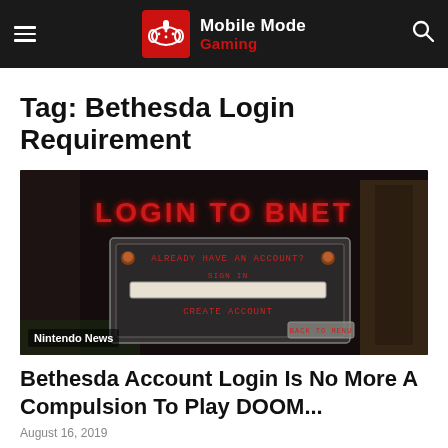Mobile Mode Gaming
Tag: Bethesda Login Requirement
[Figure (screenshot): Screenshot of a DOOM game login screen showing 'LOGIN TO BNET' text in red with options 'ALREADY HAVE AN ACCOUNT?', 'SIGN IN', and 'CREATE ACCOUNT' overlaid on dark game background. Category label 'Nintendo News' in bottom left.]
Bethesda Account Login Is No More A Compulsion To Play DOOM...
August 16, 2019